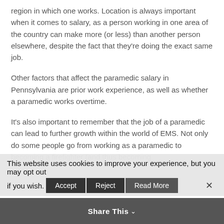region in which one works. Location is always important when it comes to salary, as a person working in one area of the country can make more (or less) than another person elsewhere, despite the fact that they're doing the exact same job.
Other factors that affect the paramedic salary in Pennsylvania are prior work experience, as well as whether a paramedic works overtime.
It's also important to remember that the job of a paramedic can lead to further growth within the world of EMS. Not only do some people go from working as a paramedic to becoming a firefighter (and thus becoming
This website uses cookies to improve your experience, but you may opt out if you wish. Accept Reject Read More
Share This